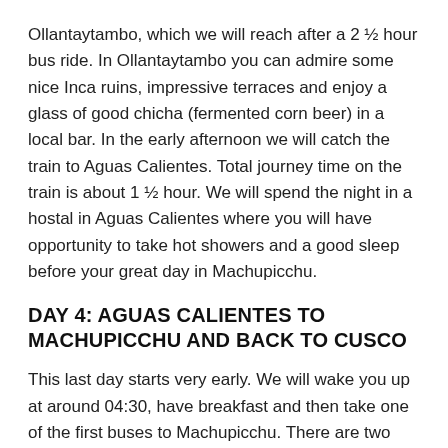Ollantaytambo, which we will reach after a 2 ½ hour bus ride. In Ollantaytambo you can admire some nice Inca ruins, impressive terraces and enjoy a glass of good chicha (fermented corn beer) in a local bar. In the early afternoon we will catch the train to Aguas Calientes. Total journey time on the train is about 1 ½ hour. We will spend the night in a hostal in Aguas Calientes where you will have opportunity to take hot showers and a good sleep before your great day in Machupicchu.
DAY 4: AGUAS CALIENTES TO MACHUPICCHU AND BACK TO CUSCO
This last day starts very early. We will wake you up at around 04:30, have breakfast and then take one of the first buses to Machupicchu. There are two good reasons to be at the entrance of Machupicchu very early: 1.) It is well worth the effort to get up early as the Inca city is quietest in the early morning and you will have plenty of time to take photos and